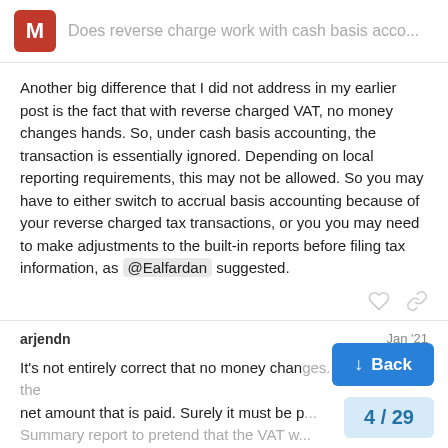Does reverse charge work with cash basis acco...
Another big difference that I did not address in my earlier post is the fact that with reverse charged VAT, no money changes hands. So, under cash basis accounting, the transaction is essentially ignored. Depending on local reporting requirements, this may not be allowed. So you may have to either switch to accrual basis accounting because of your reverse charged tax transactions, or you you may need to make adjustments to the built-in reports before filing tax information, as @Ealfardan suggested.
arjendn  Jan '21
It's not entirely correct that no money chan... and the... the net amount that is paid. Surely it must be p... Summary report to pretend that the VAT w...